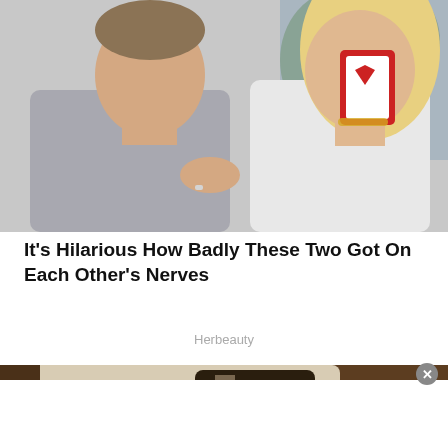[Figure (photo): A man and a woman sitting together; the woman holds a red deck of playing cards; both appear to be smiling/interacting]
It's Hilarious How Badly These Two Got On Each Other's Nerves
Herbeauty
[Figure (photo): Person sleeping in a luxury private jet seat covered with a dark Louis Vuitton monogram blanket, with a LV monogram pillow nearby]